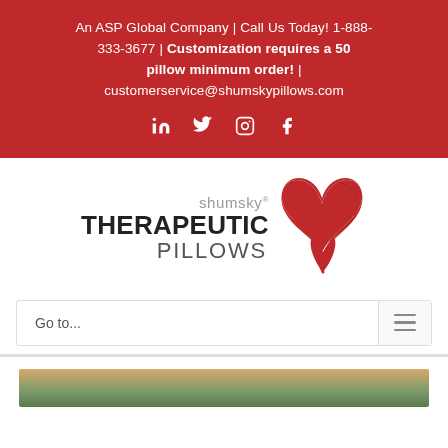An ASP Global Company | Call Us Today! 1-888-333-3677 | Customization requires a 50 pillow minimum order! | customerservice@shumskypillows.com
[Figure (logo): Shumsky Therapeutic Pillows logo with red heart shape and company name]
Go to...
[Figure (photo): Partial image visible at bottom of page, appears to be an outdoor or nature scene]